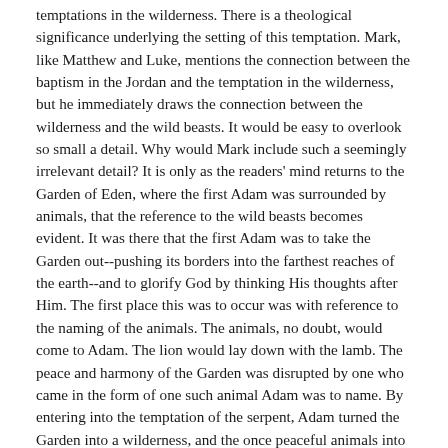temptations in the wilderness. There is a theological significance underlying the setting of this temptation. Mark, like Matthew and Luke, mentions the connection between the baptism in the Jordan and the temptation in the wilderness, but he immediately draws the connection between the wilderness and the wild beasts. It would be easy to overlook so small a detail. Why would Mark include such a seemingly irrelevant detail? It is only as the readers' mind returns to the Garden of Eden, where the first Adam was surrounded by animals, that the reference to the wild beasts becomes evident. It was there that the first Adam was to take the Garden out--pushing its borders into the farthest reaches of the earth--and to glorify God by thinking His thoughts after Him. The first place this was to occur was with reference to the naming of the animals. The animals, no doubt, would come to Adam. The lion would lay down with the lamb. The peace and harmony of the Garden was disrupted by one who came in the form of one such animal Adam was to name. By entering into the temptation of the serpent, Adam turned the Garden into a wilderness, and the once peaceful animals into wild beasts. On account of this, the second Adam must begin His ministry in a wilderness. His was a ministry of undoing everything that Adam had done, and of doing everything that the first Adam had failed to do. His environment must, in some form, resemble the environment of sin and corruption, since He was made in all ways like His brethren, yet without sin. Luke's account of our Lord's temptation serves this conclusion as well. There are no references to the wild beats in this record, but there are clues in the larger context of the book that lend